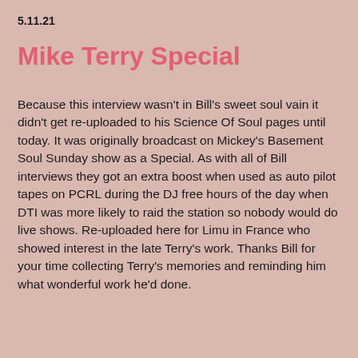5.11.21
Mike Terry Special
Because this interview wasn't in Bill's sweet soul vain it didn't get re-uploaded to his Science Of Soul pages until today. It was originally broadcast on Mickey's Basement Soul Sunday show as a Special. As with all of Bill interviews they got an extra boost when used as auto pilot tapes on PCRL during the DJ free hours of the day when DTI was more likely to raid the station so nobody would do live shows. Re-uploaded here for Limu in France who showed interest in the late Terry's work. Thanks Bill for your time collecting Terry's memories and reminding him what wonderful work he'd done.
[Figure (screenshot): Media player with photo of two men and a red error box saying Sorry - your browser is not supported. Please update your browser or install another. Mixcloud requires HTML5 audio with MP3 and. Time shown 00:00 and -1:03:03 with playback controls.]